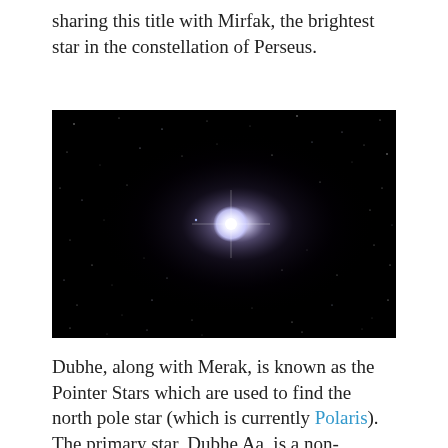sharing this title with Mirfak, the brightest star in the constellation of Perseus.
[Figure (photo): Astronomical photograph of a bright star (Dubhe) against a dark night sky filled with many smaller stars. The central star glows with a bright white-purple halo against the black background.]
Dubhe, along with Merak, is known as the Pointer Stars which are used to find the north pole star (which is currently Polaris). The primary star, Dubhe Aa, is a non-...